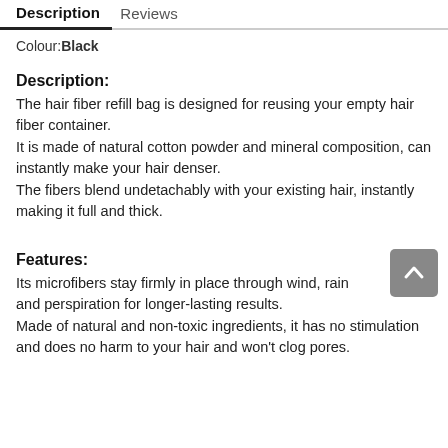Description   Reviews
Colour:Black
Description:
The hair fiber refill bag is designed for reusing your empty hair fiber container.
It is made of natural cotton powder and mineral composition, can instantly make your hair denser.
The fibers blend undetachably with your existing hair, instantly making it full and thick.
Features:
Its microfibers stay firmly in place through wind, rain and perspiration for longer-lasting results.
Made of natural and non-toxic ingredients, it has no stimulation and does no harm to your hair and won't clog pores.